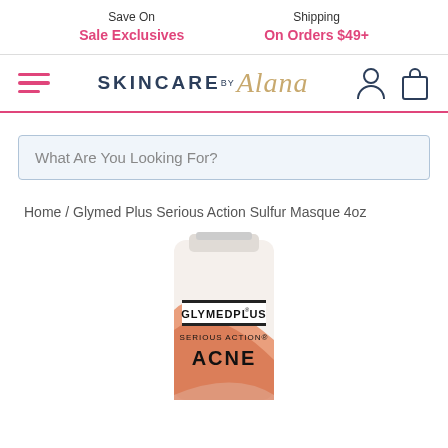Save On Sale Exclusives | Shipping On Orders $49+
[Figure (logo): SKINCARE by Alana logo with hamburger menu and user/cart icons]
What Are You Looking For?
Home / Glymed Plus Serious Action Sulfur Masque 4oz
[Figure (photo): GlyMed Plus Serious Action Acne product tube, white with orange/salmon graphic design]